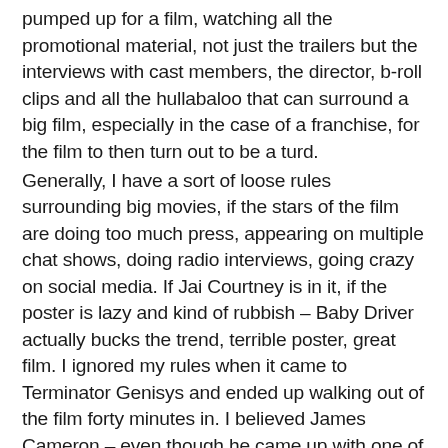pumped up for a film, watching all the promotional material, not just the trailers but the interviews with cast members, the director, b-roll clips and all the hullabaloo that can surround a big film, especially in the case of a franchise, for the film to then turn out to be a turd. Generally, I have a sort of loose rules surrounding big movies, if the stars of the film are doing too much press, appearing on multiple chat shows, doing radio interviews, going crazy on social media. If Jai Courtney is in it, if the poster is lazy and kind of rubbish – Baby Driver actually bucks the trend, terrible poster, great film. I ignored my rules when it came to Terminator Genisys and ended up walking out of the film forty minutes in. I believed James Cameron – even though he came up with one of the worse fake mineral names in movie history in the over hyped Avatar, with the evil humans looking to steal